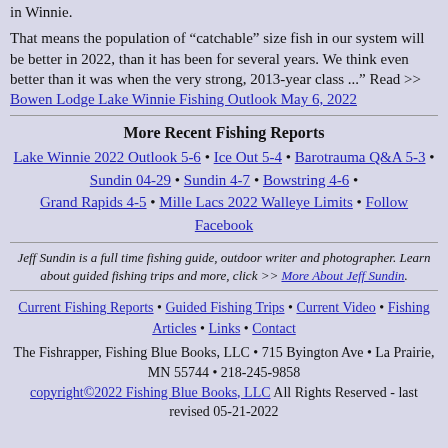in Winnie.
That means the population of “catchable” size fish in our system will be better in 2022, than it has been for several years. We think even better than it was when the very strong, 2013-year class ..." Read >> Bowen Lodge Lake Winnie Fishing Outlook May 6, 2022
More Recent Fishing Reports
Lake Winnie 2022 Outlook 5-6 • Ice Out 5-4 • Barotrauma Q&A 5-3 • Sundin 04-29 • Sundin 4-7 • Bowstring 4-6 • Grand Rapids 4-5 • Mille Lacs 2022 Walleye Limits • Follow Facebook
Jeff Sundin is a full time fishing guide, outdoor writer and photographer. Learn about guided fishing trips and more, click >> More About Jeff Sundin.
Current Fishing Reports • Guided Fishing Trips • Current Video • Fishing Articles • Links • Contact
The Fishrapper, Fishing Blue Books, LLC • 715 Byington Ave • La Prairie, MN 55744 • 218-245-9858 copyright©2022 Fishing Blue Books, LLC All Rights Reserved - last revised 05-21-2022